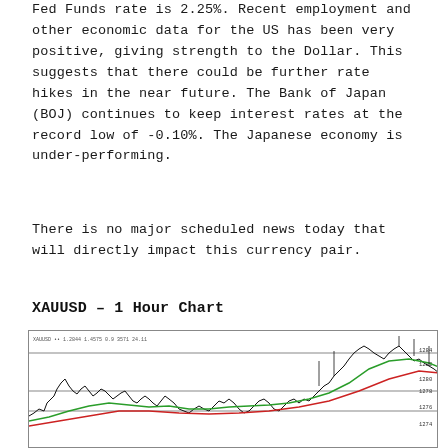Fed Funds rate is 2.25%. Recent employment and other economic data for the US has been very positive, giving strength to the Dollar. This suggests that there could be further rate hikes in the near future. The Bank of Japan (BOJ) continues to keep interest rates at the record low of -0.10%. The Japanese economy is under-performing.
There is no major scheduled news today that will directly impact this currency pair.
XAUUSD – 1 Hour Chart
[Figure (continuous-plot): XAUUSD 1 Hour candlestick/line chart showing price action with two moving average lines (red and green). Price shows an upward trend toward the right side of the chart. Several horizontal resistance/support lines are visible. Chart annotations visible at top left and right side price labels.]